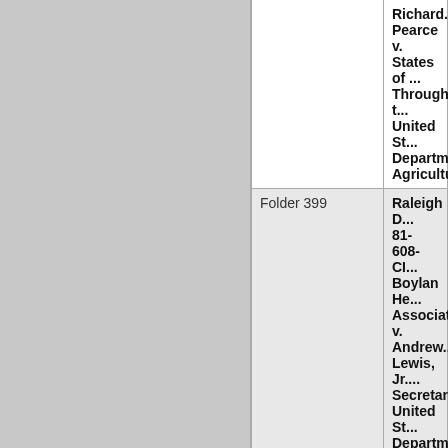| Folder | Case |
| --- | --- |
|  | Richard ...
Pearce v.
States of ...
Through t...
United St...
Departme...
Agricultu... |
| Folder 399 | Raleigh D...
81-608-CI...
Boylan He...
Associati...
v. Andrew...
Lewis, Jr....
Secretary...
United St...
Departme...
Transport...
al. |
| Folder 400 | Raleigh D...
81-746-CI...
Ester R. C...
v. Becton...
Dickinson...
Research...
etc. |
| Folder 401-402 | Raleigh D... |